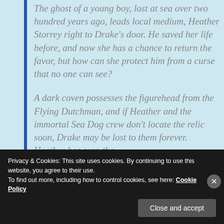The ghost of a young boy, lost at sea over two hundred years ago, leads local medium, Heather Storrey right to Drake's door. He saved her life before, and now she has a chance to return the favor, but how can she protect him from a curse that no one can see?
A dark coven possesses the figurehead from the Flying Dutchman, and if Heather and the immortal Sea Dog crew don't locate the relic soon, Drake may be lost to them forever. Heather has seen the
Privacy & Cookies: This site uses cookies. By continuing to use this website, you agree to their use.
To find out more, including how to control cookies, see here: Cookie Policy
Close and accept